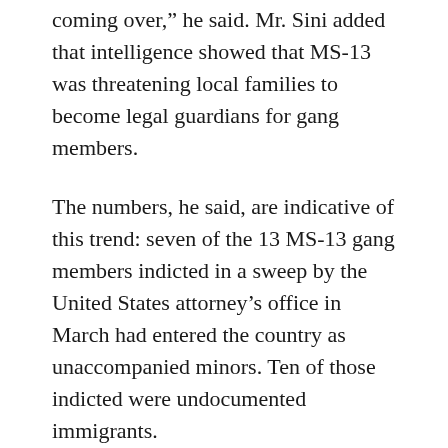coming over,” he said. Mr. Sini added that intelligence showed that MS-13 was threatening local families to become legal guardians for gang members.
The numbers, he said, are indicative of this trend: seven of the 13 MS-13 gang members indicted in a sweep by the United States attorney’s office in March had entered the country as unaccompanied minors. Ten of those indicted were undocumented immigrants.
About 4,000 unaccompanied minors have settled in the county in the last several years after fleeing the violence-racked countries of Central America, and gang members have preyed on them. About 400 children who entered the country unaccompanied and relocated to Brentwood are now enrolled in the school district,